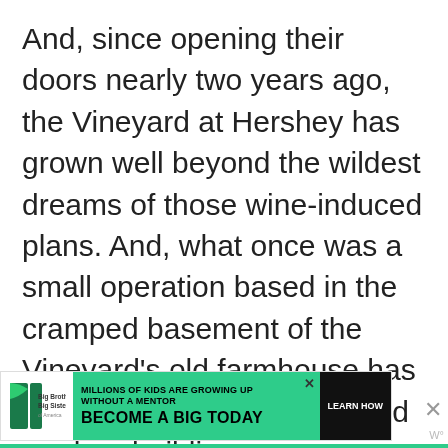And, since opening their doors nearly two years ago, the Vineyard at Hershey has grown well beyond the wildest dreams of those wine-induced plans. And, what once was a small operation based in the cramped basement of the Vineyard's old farmhouse has already moved into large and modern building ne...
[Figure (screenshot): UI overlay showing a teal heart/like button with count 590 and a share button]
[Figure (screenshot): What's Next panel showing a thumbnail and text 'Breweries in Butler, PA: A...']
[Figure (screenshot): Ad banner: Big Brothers Big Sisters logo, green background with text 'MILLIONS OF KIDS ARE GROWING UP WITHOUT A MENTOR' and 'BECOME A BIG TODAY' with a Learn How button]